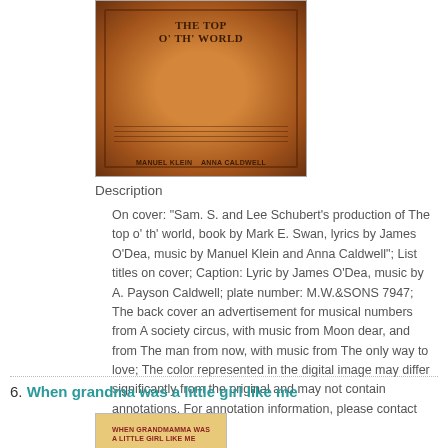[Figure (photo): Album cover thumbnail showing 'The Top O' Th' World' with orange/brown decorative design]
Description
On cover: "Sam. S. and Lee Schubert's production of The top o' th' world, book by Mark E. Swan, lyrics by James O'Dea, music by Manuel Klein and Anna Caldwell"; List titles on cover; Caption: Lyric by James O'Dea, music by A. Payson Caldwell; plate number: M.W.&SONS 7947; The back cover an advertisement for musical numbers from A society circus, with music from Moon dear, and from The man from now, with music from The only way to love; The color represented in the digital image may differ significantly from the original and may not contain annotations. For annotation information, please contact Music Services.
6. When grandma was a little girl like me
[Figure (photo): Album cover thumbnail for 'When Grandmamma Was A Little Girl Like Me']